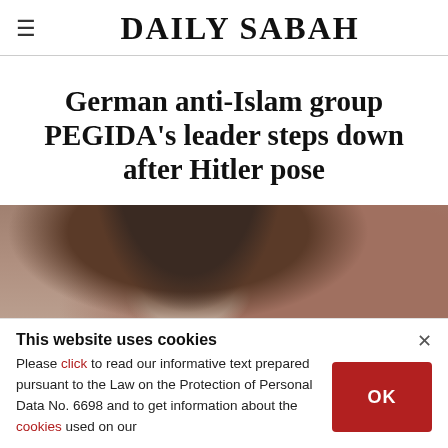DAILY SABAH
German anti-Islam group PEGIDA's leader steps down after Hitler pose
[Figure (photo): Close-up photo of a person with dark hair, partially visible, serving as the article thumbnail image]
This website uses cookies
Please click to read our informative text prepared pursuant to the Law on the Protection of Personal Data No. 6698 and to get information about the cookies used on our